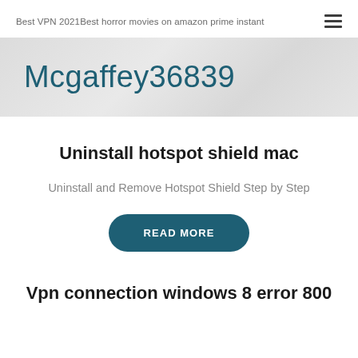Best VPN 2021Best horror movies on amazon prime instant
Mcgaffey36839
Uninstall hotspot shield mac
Uninstall and Remove Hotspot Shield Step by Step
READ MORE
Vpn connection windows 8 error 800